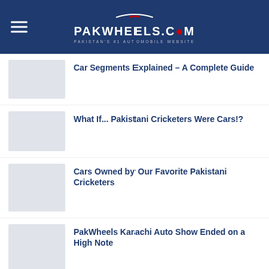PakWheels.com — Pakistan's #1 Automobile Website
Car Segments Explained – A Complete Guide
What If... Pakistani Cricketers Were Cars!?
Cars Owned by Our Favorite Pakistani Cricketers
PakWheels Karachi Auto Show Ended on a High Note
Most Viewed & Liked Videos of PakWheels in 2021